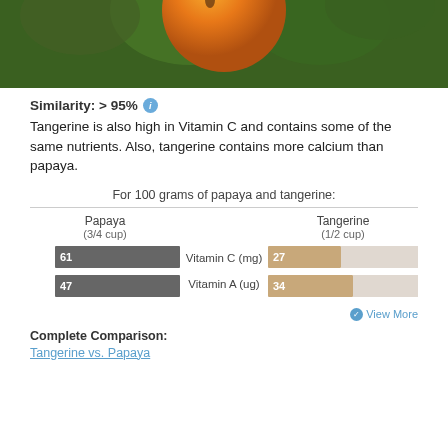[Figure (photo): Photo of an orange tangerine fruit with green leaves in the background]
Similarity: > 95%
Tangerine is also high in Vitamin C and contains some of the same nutrients. Also, tangerine contains more calcium than papaya.
For 100 grams of papaya and tangerine:
| Papaya (3/4 cup) | Nutrient | Tangerine (1/2 cup) |
| --- | --- | --- |
| 61 | Vitamin C (mg) | 27 |
| 47 | Vitamin A (ug) | 34 |
View More
Complete Comparison:
Tangerine vs. Papaya